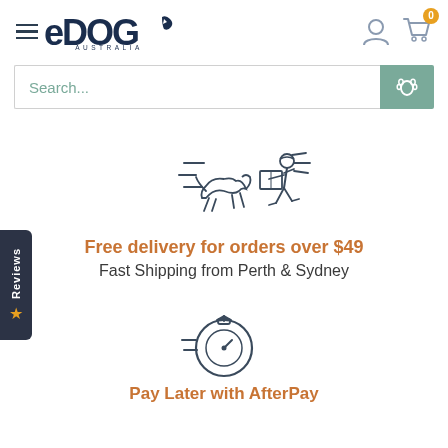[Figure (logo): eDOG Australia logo — dark navy bold text with stylized letters]
[Figure (illustration): Navigation icons: user account silhouette and shopping cart with badge showing 0]
Search...
[Figure (illustration): Paw print icon on teal/green square button]
[Figure (illustration): Reviews tab on left side with star icon, rotated text reading Reviews]
[Figure (illustration): Line art icon of a dog chasing a delivery person running with a package, with speed lines]
Free delivery for orders over $49
Fast Shipping from Perth & Sydney
[Figure (illustration): Line art icon of a stopwatch/timer with speed lines]
Pay Later with AfterPay